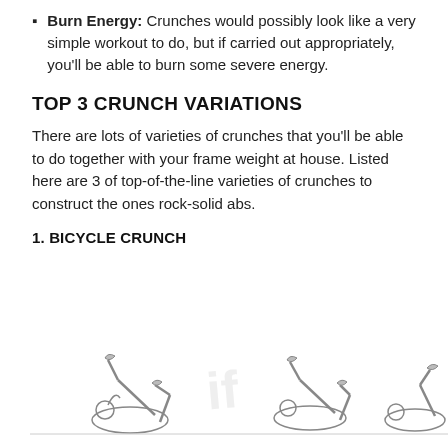Burn Energy: Crunches would possibly look like a very simple workout to do, but if carried out appropriately, you'll be able to burn some severe energy.
TOP 3 CRUNCH VARIATIONS
There are lots of varieties of crunches that you'll be able to do together with your frame weight at house. Listed here are 3 of top-of-the-line varieties of crunches to construct the ones rock-solid abs.
1. BICYCLE CRUNCH
[Figure (illustration): Illustration of a person performing bicycle crunch exercise, shown in two positions side by side with a watermark text in the background.]